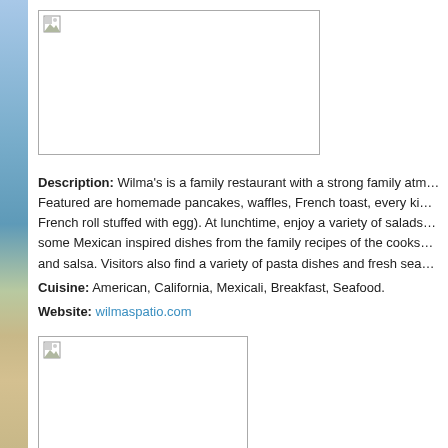[Figure (photo): Placeholder image 1 (broken image icon), wide rectangular photo area]
Description: Wilma's is a family restaurant with a strong family atm... Featured are homemade pancakes, waffles, French toast, every ki... French roll stuffed with egg). At lunchtime, enjoy a variety of salads... some Mexican inspired dishes from the family recipes of the cooks... and salsa. Visitors also find a variety of pasta dishes and fresh sea... Cuisine: American, California, Mexicali, Breakfast, Seafood. Website: wilmaspatio.com
[Figure (photo): Placeholder image 2 (broken image icon), smaller rectangular photo area]